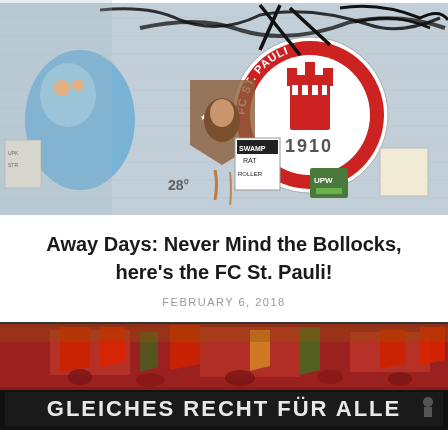[Figure (photo): Street art and graffiti wall featuring FC St. Pauli 1910 logo with red circle and Hamburg castle emblem, surrounded by various stickers and graffiti tags in blue, brown and black]
Away Days: Never Mind the Bollocks, here's the FC St. Pauli!
FEBRUARY 6, 2018
[Figure (photo): Stadium crowd scene with red flags and banners, featuring a large banner reading 'GLEICHES RECHT FÜR ALLE' (Equal rights for all)]